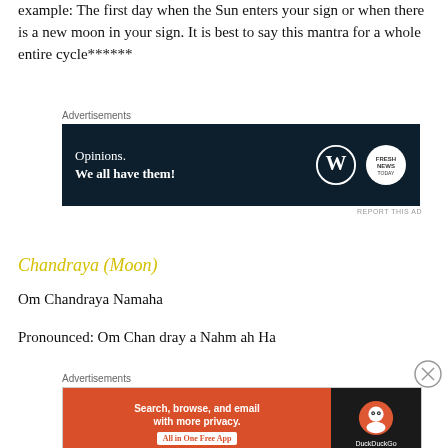example: The first day when the Sun enters your sign or when there is a new moon in your sign. It is best to say this mantra for a whole entire cycle******
[Figure (other): Advertisement banner: dark navy background with text 'Opinions. We all have them!' and WordPress/Fresh News logos]
Chandraya (Moon)
Om Chandraya Namaha
Pronounced: Om Chan dray a Nahm ah Ha
[Figure (other): Advertisement banner: DuckDuckGo ad with orange background 'Search, browse, and email with more privacy. All in One Free App' and DuckDuckGo logo on dark right panel]